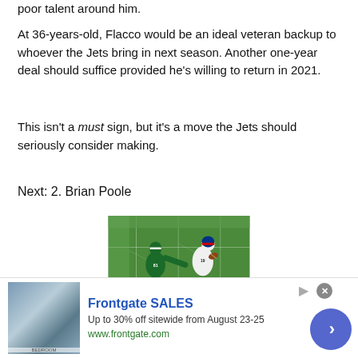poor talent around him.
At 36-years-old, Flacco would be an ideal veteran backup to whoever the Jets bring in next season. Another one-year deal should suffice provided he’s willing to return in 2021.
This isn’t a must sign, but it’s a move the Jets should seriously consider making.
Next: 2. Brian Poole
[Figure (photo): NFL football action photo showing a Buffalo Bills wide receiver in white uniform running with the ball while a New York Jets player in green uniform attempts to defend on a green turf field.]
[Figure (other): Advertisement for Frontgate SALES showing a bedroom furniture image, bold blue title 'Frontgate SALES', text 'Up to 30% off sitewide from August 23-25', URL www.frontgate.com, a close button, and a blue circular arrow button.]